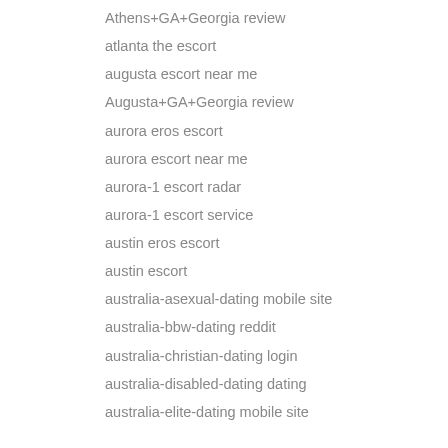Athens+GA+Georgia review
atlanta the escort
augusta escort near me
Augusta+GA+Georgia review
aurora eros escort
aurora escort near me
aurora-1 escort radar
aurora-1 escort service
austin eros escort
austin escort
australia-asexual-dating mobile site
australia-bbw-dating reddit
australia-christian-dating login
australia-disabled-dating dating
australia-elite-dating mobile site